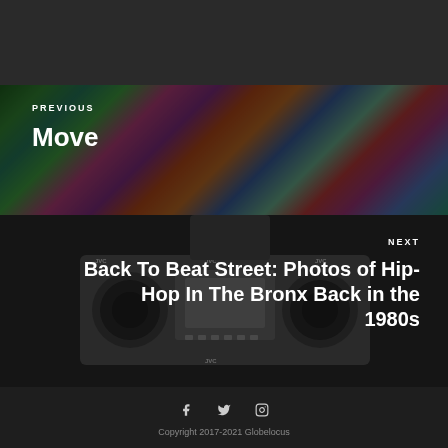[Figure (photo): Colorful graffiti wall used as background for PREVIOUS navigation block]
PREVIOUS
Move
[Figure (photo): Black and white photo of a person holding a JVC boombox, used as background for NEXT navigation block]
NEXT
Back To Beat Street: Photos of Hip-Hop In The Bronx Back in the 1980s
Copyright 2017-2021 Globelocus